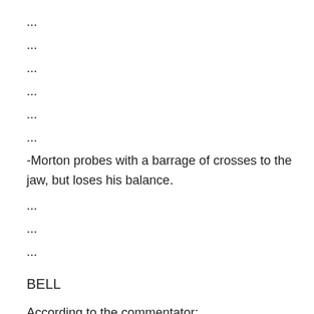...
...
...
...
...
...
-Morton probes with a barrage of crosses to the jaw, but loses his balance.
...
...
...
BELL
According to the commentator:
Craig Morton landed 5 of 30 punches, and BOT-179567 landed 8 of 8 punches.